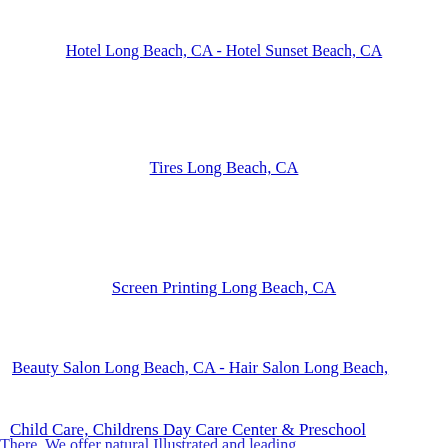Hotel Long Beach, CA - Hotel Sunset Beach, CA
Tires Long Beach, CA
Screen Printing Long Beach, CA
Beauty Salon Long Beach, CA - Hair Salon Long Beach,
Child Care, Childrens Day Care Center & Preschool
There. We offer natural illustrated and leading...